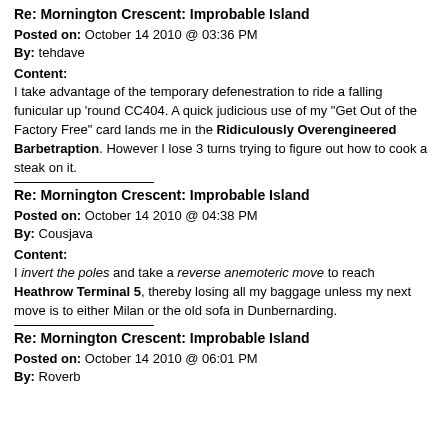Re: Mornington Crescent: Improbable Island
Posted on: October 14 2010 @ 03:36 PM
By: tehdave
Content:
I take advantage of the temporary defenestration to ride a falling funicular up 'round CC404. A quick judicious use of my "Get Out of the Factory Free" card lands me in the Ridiculously Overengineered Barbetraption. However I lose 3 turns trying to figure out how to cook a steak on it.
Re: Mornington Crescent: Improbable Island
Posted on: October 14 2010 @ 04:38 PM
By: Cousjava
Content:
I invert the poles and take a reverse anemoteric move to reach Heathrow Terminal 5, thereby losing all my baggage unless my next move is to either Milan or the old sofa in Dunbernarding.
Re: Mornington Crescent: Improbable Island
Posted on: October 14 2010 @ 06:01 PM
By: Roverb